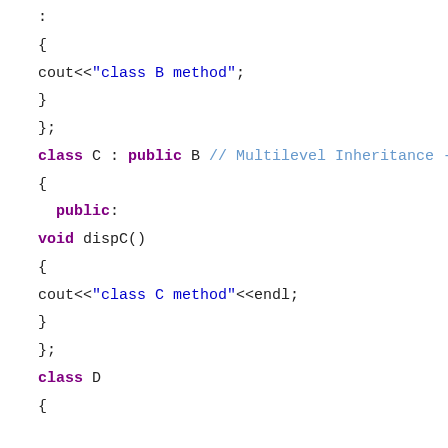{ cout<<"class B method"; } }; class C : public B // Multilevel Inheritance - cl { public: void dispC() { cout<<"class C method"<<endl; } }; class D {
C++ code snippet showing multilevel inheritance with class definitions